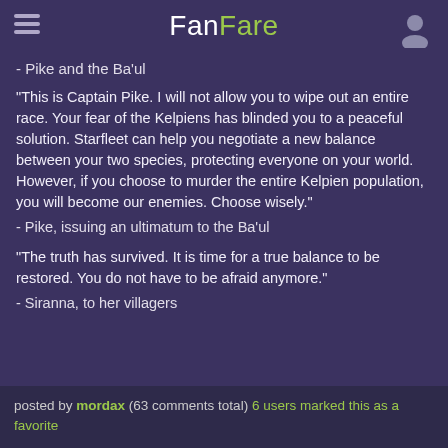FanFare
- Pike and the Ba'ul
"This is Captain Pike. I will not allow you to wipe out an entire race. Your fear of the Kelpiens has blinded you to a peaceful solution. Starfleet can help you negotiate a new balance between your two species, protecting everyone on your world. However, if you choose to murder the entire Kelpien population, you will become our enemies. Choose wisely."
- Pike, issuing an ultimatum to the Ba'ul
"The truth has survived. It is time for a true balance to be restored. You do not have to be afraid anymore."
- Siranna, to her villagers
posted by mordax (63 comments total) 6 users marked this as a favorite